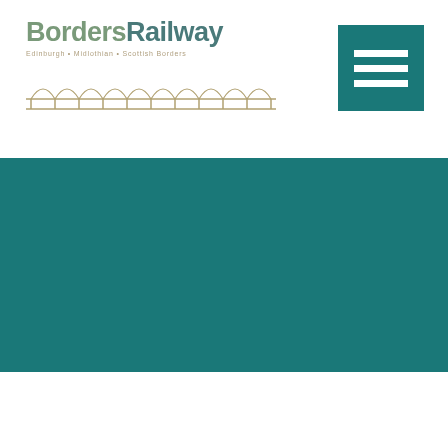[Figure (logo): Borders Railway logo with text 'BordersRailway' in olive/green color, subtitle 'Edinburgh • Midlothian • Scottish Borders', and decorative arch/bridge graphic below]
[Figure (other): Teal/dark cyan hamburger menu button (three horizontal white lines on teal square background) in top right corner]
[Figure (other): Large teal/dark cyan banner spanning full width of page below the header navigation area]